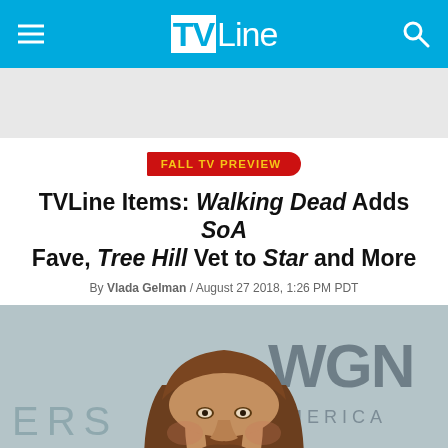TVLine
FALL TV PREVIEW
TVLine Items: Walking Dead Adds SoA Fave, Tree Hill Vet to Star and More
By Vlada Gelman / August 27 2018, 1:26 PM PDT
[Figure (photo): Man with long brown hair and beard smiling at camera, photographed at an event with WGN America signage visible in background]